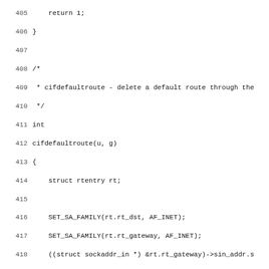[Figure (other): Source code listing in C, lines 405-436, showing cifdefaultroute and sifproxyarp functions]